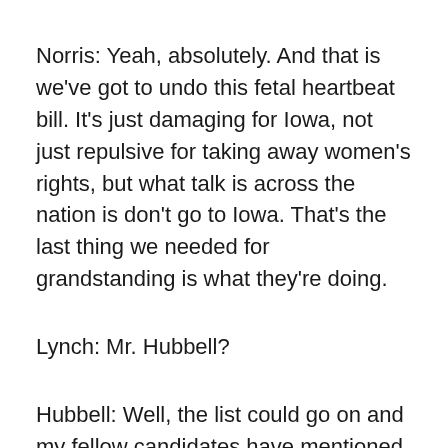Norris: Yeah, absolutely. And that is we've got to undo this fetal heartbeat bill. It's just damaging for Iowa, not just repulsive for taking away women's rights, but what talk is across the nation is don't go to Iowa. That's the last thing we needed for grandstanding is what they're doing.
Lynch: Mr. Hubbell?
Hubbell: Well, the list could go on and my fellow candidates have mentioned several very good ideas. But unfortunately, at the end of the day, most bills require money. We have a terrible fiscal mess in our state...